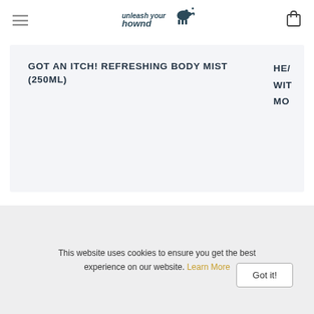unleash your hownd
GOT AN ITCH! REFRESHING BODY MIST (250ML)
HE/ WIT MO
This website uses cookies to ensure you get the best experience on our website. Learn More
Got it!